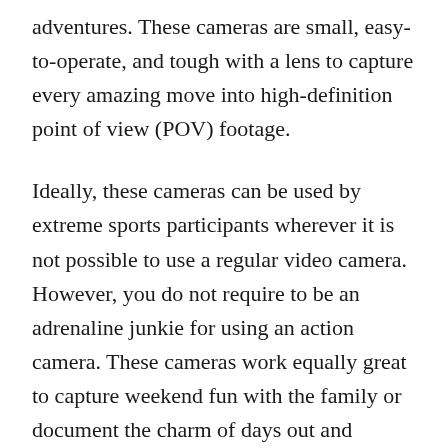adventures. These cameras are small, easy-to-operate, and tough with a lens to capture every amazing move into high-definition point of view (POV) footage.
Ideally, these cameras can be used by extreme sports participants wherever it is not possible to use a regular video camera. However, you do not require to be an adrenaline junkie for using an action camera. These cameras work equally great to capture weekend fun with the family or document the charm of days out and vacations.
When it comes to action cams, GoPro is indeed undoubtedly the market leader with an entire genre of exclusive action cameras. However, you may find